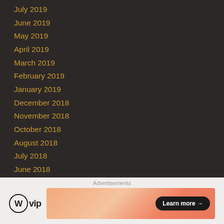July 2019
June 2019
May 2019
April 2019
March 2019
February 2019
January 2019
December 2018
November 2018
October 2018
August 2018
July 2018
June 2018
May 2018
April 2018
March 2018
February 2018
Advertisements
[Figure (logo): WordPress VIP logo with circular W icon and 'vip' text]
[Figure (infographic): Advertisement banner with salmon/peach gradient and Learn more button]